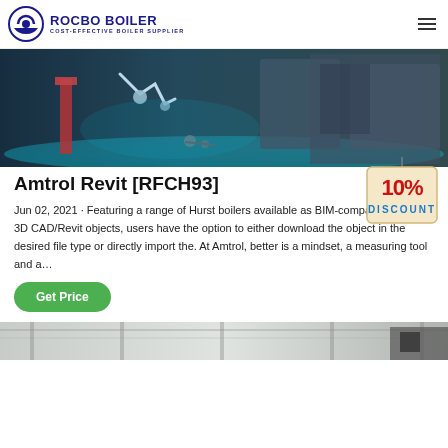ROCBO BOILER — COST-EFFECTIVE BOILER SUPPLIER
[Figure (photo): Industrial boiler room interior with robotic/mechanical equipment, blue-tinted lighting on a factory floor]
Amtrol Revit [RFCH93]
[Figure (illustration): 10% DISCOUNT badge/tag graphic in red and blue]
Jun 02, 2021 · Featuring a range of Hurst boilers available as BIM-compatible 2D and 3D CAD/Revit objects, users have the option to either download the object in the desired file type or directly import the. At Amtrol, better is a mindset, a measuring tool and a…
Get Price
[Figure (photo): Industrial facility interior — bottom strip showing industrial equipment and ceiling]